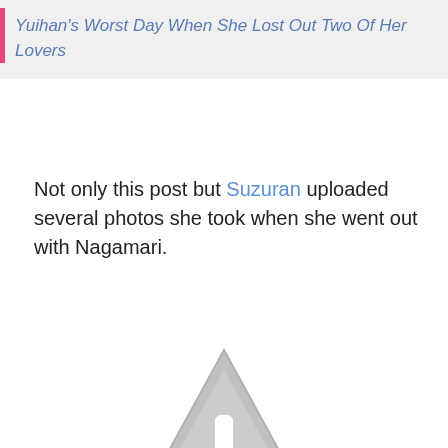Yuihan's Worst Day When She Lost Out Two Of Her Lovers
Not only this post but Suzuran uploaded several photos she took when she went out with Nagamari.
[Figure (other): Gray warning/placeholder triangle icon with exclamation mark]